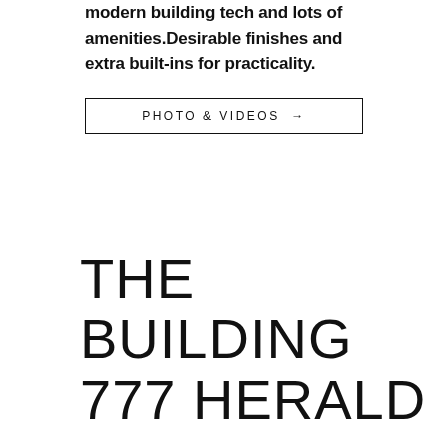modern building tech and lots of amenities.Desirable finishes and extra built-ins for practicality.
PHOTO & VIDEOS →
THE BUILDING 777 HERALD